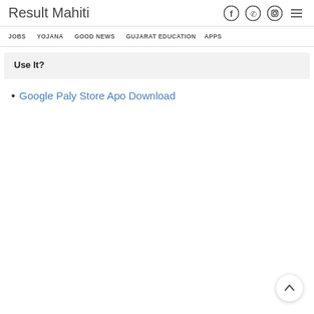Result Mahiti
JOBS  YOJANA  GOOD NEWS  GUJARAT EDUCATION  APPS
Use It?
Google Paly Store Apo Download